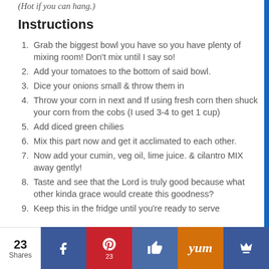(Hot if you can hang.)
Instructions
Grab the biggest bowl you have so you have plenty of mixing room! Don't mix until I say so!
Add your tomatoes to the bottom of said bowl.
Dice your onions small & throw them in
Throw your corn in next and If using fresh corn then shuck your corn from the cobs (I used 3-4 to get 1 cup)
Add diced green chilies
Mix this part now and get it acclimated to each other.
Now add your cumin, veg oil, lime juice. & cilantro MIX away gently!
Taste and see that the Lord is truly good because what other kinda grace would create this goodness?
Keep this in the fridge until you're ready to serve
23 Shares | Facebook | Pinterest 23 | Like | Yum | Crown